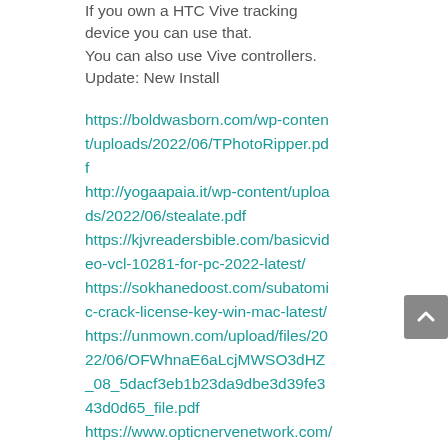If you own a HTC Vive tracking device you can use that.
You can also use Vive controllers.
Update: New Install
https://boldwasborn.com/wp-content/uploads/2022/06/TPhotoRipper.pdf
http://yogaapaia.it/wp-content/uploads/2022/06/stealate.pdf
https://kjvreadersbible.com/basicvideo-vcl-10281-for-pc-2022-latest/
https://sokhanedoost.com/subatomic-crack-license-key-win-mac-latest/
https://unmown.com/upload/files/2022/06/OFWhnaE6aLcjMWSO3dHZ_08_5dacf3eb1b23da9dbe3d39fe343d0d65_file.pdf
https://www.opticnervenetwork.com/wp-content/uploads/2022/06/RSATools.pdf
https://therootbrands.com/wp-content/uploads/2022/06/SmartLook_Dress_Cra...